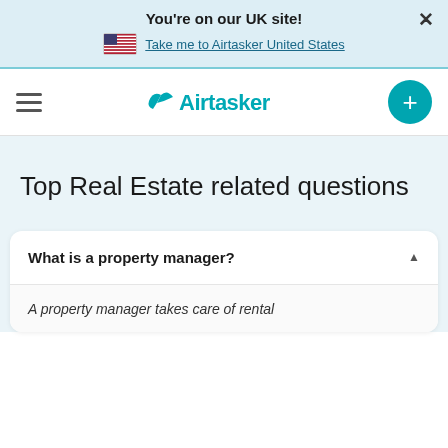You're on our UK site!
Take me to Airtasker United States
[Figure (logo): Airtasker logo with bird icon and wordmark in teal]
Top Real Estate related questions
What is a property manager?
A property manager takes care of rental